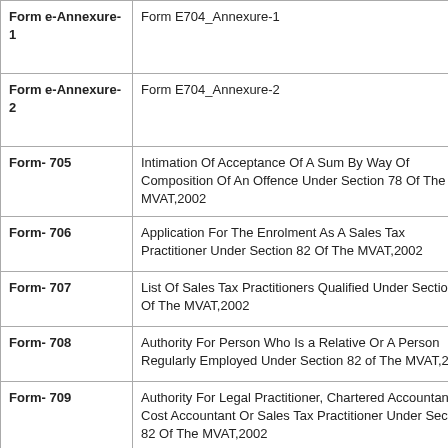| Form | Description |
| --- | --- |
| Form e-Annexure-1 | Form E704_Annexure-1 |
| Form e-Annexure-2 | Form E704_Annexure-2 |
| Form- 705 | Intimation Of Acceptance Of A Sum By Way Of Composition Of An Offence Under Section 78 Of The MVAT,2002 |
| Form- 706 | Application For The Enrolment As A Sales Tax Practitioner Under Section 82 Of The MVAT,2002 |
| Form- 707 | List Of Sales Tax Practitioners Qualified Under Section 82 Of The MVAT,2002 |
| Form- 708 | Authority For Person Who Is a Relative Or A Person Regularly Employed Under Section 82 of The MVAT,2002 |
| Form- 709 | Authority For Legal Practitioner, Chartered Accountant, Cost Accountant Or Sales Tax Practitioner Under Section 82 Of The MVAT,2002 |
| Form- 801 | Transaction-Wise VAT Sales To Customers e-Annexure, e-LOC |
| MTR- 6 | Challan |
|  |  |